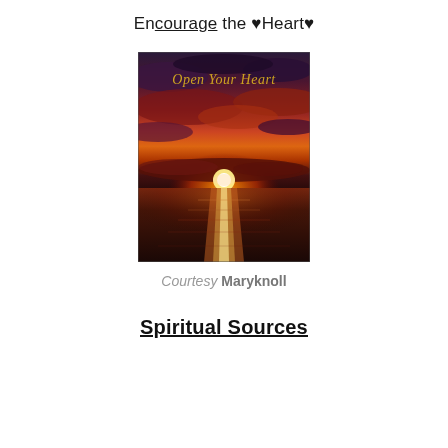Encourage the ♥Heart♥
[Figure (photo): A sunset photograph over ocean water with dramatic red and purple clouds. Text 'Open Your Heart' written in gold script at the top of the image.]
Courtesy Maryknoll
Spiritual Sources